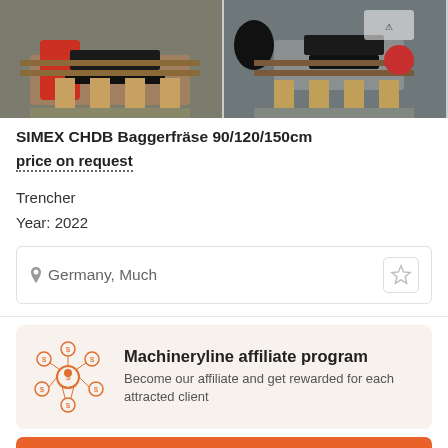[Figure (photo): Three machinery photos showing SIMEX CHDB Baggerfräse trencher equipment on wooden pallets. Two full-width photos and one partial photo cropped on right edge.]
SIMEX CHDB Baggerfräse 90/120/150cm
price on request
Trencher
Year: 2022
Germany, Much
[Figure (illustration): Orange affiliate network icon showing people connected in a network with dollar signs]
Machineryline affiliate program
Become our affiliate and get rewarded for each attracted client
See the offer